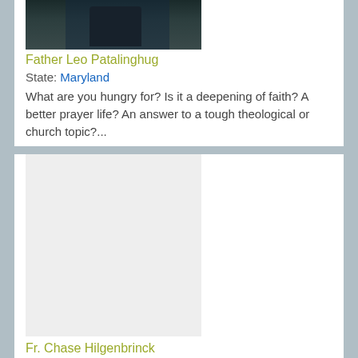[Figure (photo): Top portion of a photograph of Father Leo Patalinghug, showing dark clothing and clerical collar]
Father Leo Patalinghug
State: Maryland
What are you hungry for? Is it a deepening of faith? A better prayer life? An answer to a tough theological or church topic?...
[Figure (photo): Placeholder image for Fr. Chase Hilgenbrinck (light gray rectangle)]
Fr. Chase Hilgenbrinck
State: Illinois
Chase Hilgenbrinck was a professional soccer player before abruptly retiring in order to answer the call to become a priest. He became a seminarian...